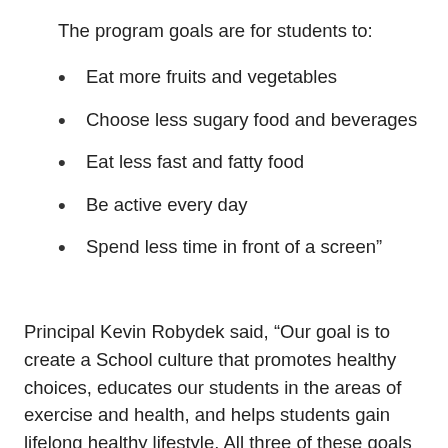The program goals are for students to:
Eat more fruits and vegetables
Choose less sugary food and beverages
Eat less fast and fatty food
Be active every day
Spend less time in front of a screen”
Principal Kevin Robydek said, “Our goal is to create a School culture that promotes healthy choices, educates our students in the areas of exercise and health, and helps students gain lifelong healthy lifestyle. All three of these goals will help us to reduce